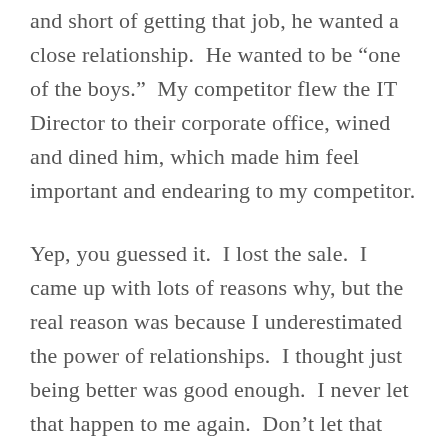and short of getting that job, he wanted a close relationship.  He wanted to be “one of the boys.”  My competitor flew the IT Director to their corporate office, wined and dined him, which made him feel important and endearing to my competitor.
Yep, you guessed it.  I lost the sale.  I came up with lots of reasons why, but the real reason was because I underestimated the power of relationships.  I thought just being better was good enough.  I never let that happen to me again.  Don’t let that happen to you either.  Good relationships, especially in high profile, high dollar deals, are essential – if not key – to winning.  First build your relationship,